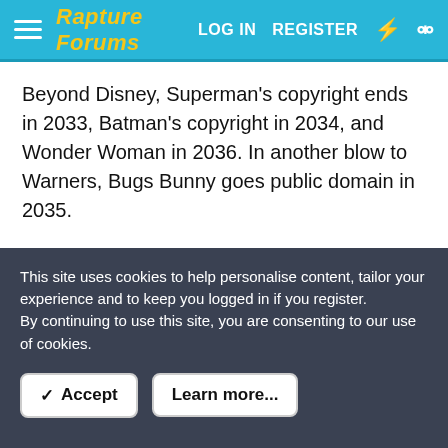Rapture Forums — LOG IN   REGISTER
Beyond Disney, Superman's copyright ends in 2033, Batman's copyright in 2034, and Wonder Woman in 2036. In another blow to Warners, Bugs Bunny goes public domain in 2035.
While the copyrights apply to specific works, like Mickey Mouse in Steamboat Willie or the first Superman comic, it would open up opportunities for independent creators and companies.
Including conservatives and traditionalists who want to recreate American culture.
This site uses cookies to help personalise content, tailor your experience and to keep you logged in if you register.
By continuing to use this site, you are consenting to our use of cookies.